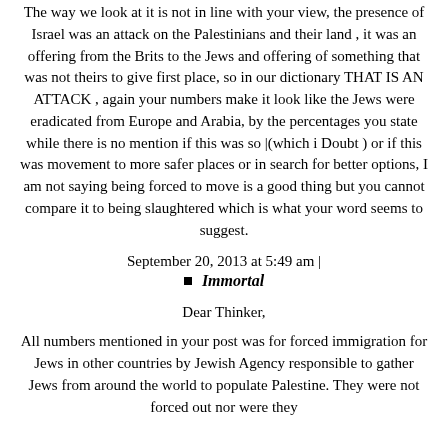The way we look at it is not in line with your view, the presence of Israel was an attack on the Palestinians and their land , it was an offering from the Brits to the Jews and offering of something that was not theirs to give first place, so in our dictionary THAT IS AN ATTACK , again your numbers make it look like the Jews were eradicated from Europe and Arabia, by the percentages you state while there is no mention if this was so |(which i Doubt ) or if this was movement to more safer places or in search for better options, I am not saying being forced to move is a good thing but you cannot compare it to being slaughtered which is what your word seems to suggest.
September 20, 2013 at 5:49 am | Immortal
Dear Thinker,
All numbers mentioned in your post was for forced immigration for Jews in other countries by Jewish Agency responsible to gather Jews from around the world to populate Palestine. They were not forced out nor were they